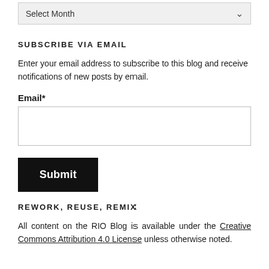[Figure (screenshot): A dropdown select box showing 'Select Month' with a down-arrow chevron, styled with light gray background and border.]
SUBSCRIBE VIA EMAIL
Enter your email address to subscribe to this blog and receive notifications of new posts by email.
Email*
[Figure (screenshot): An empty email input text box with a border.]
[Figure (screenshot): A black Submit button with white bold text.]
REWORK, REUSE, REMIX
All content on the RIO Blog is available under the Creative Commons Attribution 4.0 License unless otherwise noted.